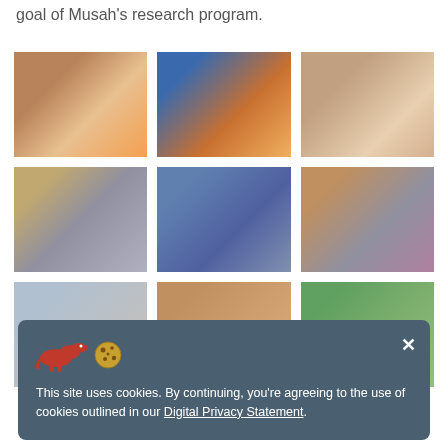goal of Musah's research program.
[Figure (photo): Grid of six photos showing young women and girls in Africa, some wearing masks, engaged in sewing and crafts activities]
[Figure (photo): Partial row of three more photos at bottom showing similar scenes]
This site uses cookies. By continuing, you're agreeing to the use of cookies outlined in our Digital Privacy Statement.